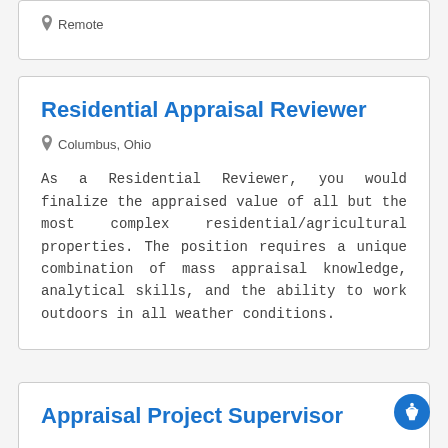Remote
Residential Appraisal Reviewer
Columbus, Ohio
As a Residential Reviewer, you would finalize the appraised value of all but the most complex residential/agricultural properties. The position requires a unique combination of mass appraisal knowledge, analytical skills, and the ability to work outdoors in all weather conditions.
Appraisal Project Supervisor